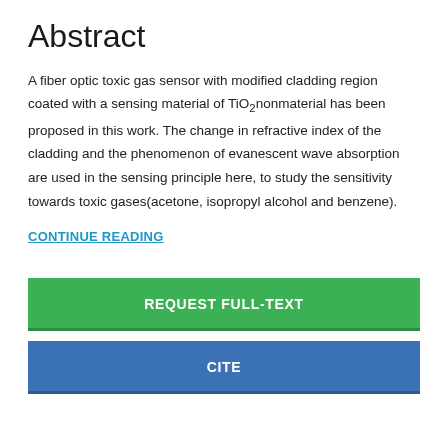Abstract
A fiber optic toxic gas sensor with modified cladding region coated with a sensing material of TiO2nonmaterial has been proposed in this work. The change in refractive index of the cladding and the phenomenon of evanescent wave absorption are used in the sensing principle here, to study the sensitivity towards toxic gases(acetone, isopropyl alcohol and benzene).
CONTINUE READING
REQUEST FULL-TEXT
CITE